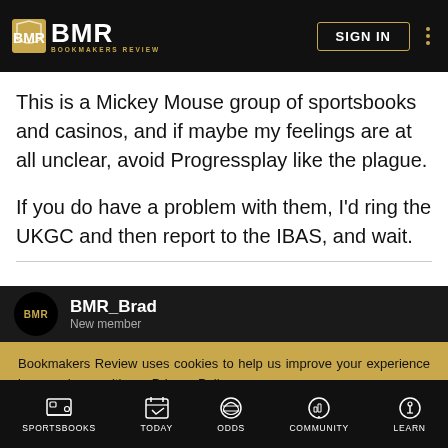[Figure (logo): BMR Bookmakers Review logo with shield icon, white text on black background, with SIGN IN button and dots menu]
This is a Mickey Mouse group of sportsbooks and casinos, and if maybe my feelings are at all unclear, avoid Progressplay like the plague.

If you do have a problem with them, I'd ring the UKGC and then report to the IBAS, and wait.
BMR_Brad
New member
Bookmakers Review uses cookies to help us improve your experience in accordance with our Privacy Policy.
ACCEPT & CLOSE
SPORTSBOOKS   TODAY   ODDS   COMMUNITY   LEARN